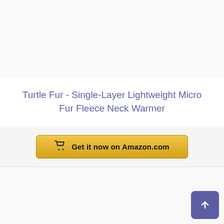[Figure (other): Top product image area (blank/light grey background)]
Turtle Fur - Single-Layer Lightweight Micro Fur Fleece Neck Warmer
Get it now on Amazon.com
[Figure (other): Bottom product image area (blank/light grey background)]